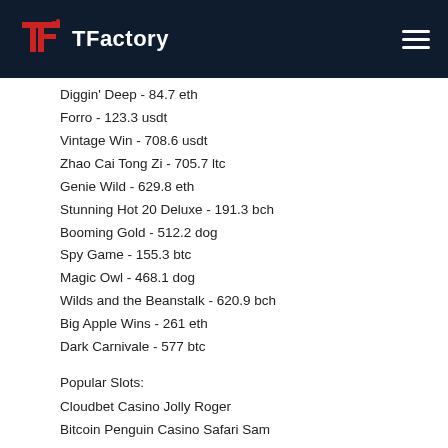TFactory
Diggin' Deep - 84.7 eth
Forro - 123.3 usdt
Vintage Win - 708.6 usdt
Zhao Cai Tong Zi - 705.7 ltc
Genie Wild - 629.8 eth
Stunning Hot 20 Deluxe - 191.3 bch
Booming Gold - 512.2 dog
Spy Game - 155.3 btc
Magic Owl - 468.1 dog
Wilds and the Beanstalk - 620.9 bch
Big Apple Wins - 261 eth
Dark Carnivale - 577 btc
Popular Slots:
Cloudbet Casino Jolly Roger
Bitcoin Penguin Casino Safari Sam
Betcoin.ag Casino Musketeer Slot
Sportsbet.io Wild Hills